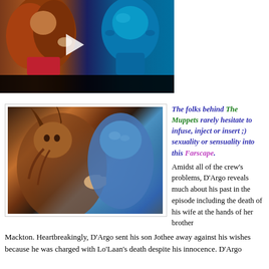[Figure (photo): Video thumbnail showing two characters - one with reddish/brown hair on left and a blue alien figure on right, with a play button overlay and black bar at bottom]
[Figure (photo): Two alien characters from Farscape - a muscular horned creature and a blue-skinned character, appearing to interact closely]
The folks behind The Muppets rarely hesitate to infuse, inject or insert ;) sexuality or sensuality into this Farscape. Amidst all of the crew's problems, D'Argo reveals much about his past in the episode including the death of his wife at the hands of her brother Mackton. Heartbreakingly, D'Argo sent his son Jothee away against his wishes because he was charged with Lo'Laan's death despite his innocence. D'Argo